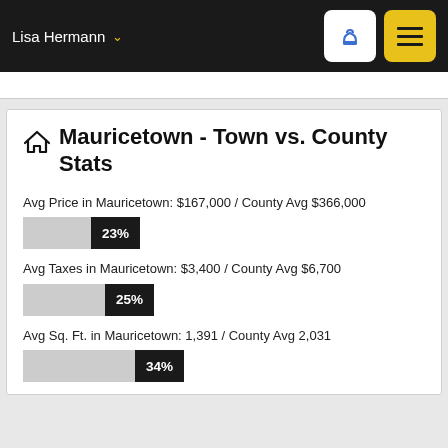Lisa Hermann
Mauricetown - Town vs. County Stats
Avg Price in Mauricetown: $167,000 / County Avg $366,000
[Figure (bar-chart): Avg Price comparison]
Avg Taxes in Mauricetown: $3,400 / County Avg $6,700
[Figure (bar-chart): Avg Taxes comparison]
Avg Sq. Ft. in Mauricetown: 1,391 / County Avg 2,031
[Figure (bar-chart): Avg Sq. Ft. comparison]